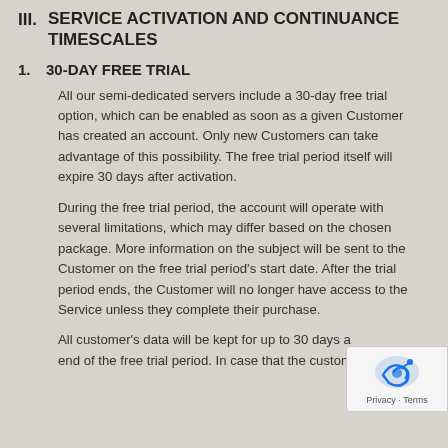III. SERVICE ACTIVATION AND CONTINUANCE TIMESCALES
1. 30-DAY FREE TRIAL
All our semi-dedicated servers include a 30-day free trial option, which can be enabled as soon as a given Customer has created an account. Only new Customers can take advantage of this possibility. The free trial period itself will expire 30 days after activation.
During the free trial period, the account will operate with several limitations, which may differ based on the chosen package. More information on the subject will be sent to the Customer on the free trial period's start date. After the trial period ends, the Customer will no longer have access to the Service unless they complete their purchase.
All customer's data will be kept for up to 30 days after the end of the free trial period. In case that the customer does